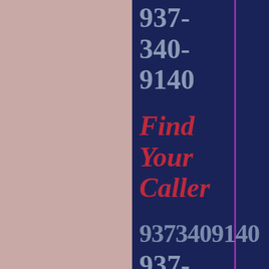937-340-9140 Find Your Caller 9373409140 937-340-9126 Find Your Caller 9373409126 937-340-
Find Your Caller
9373409140
937-340-9126
Find Your Caller
9373409126
937-340-